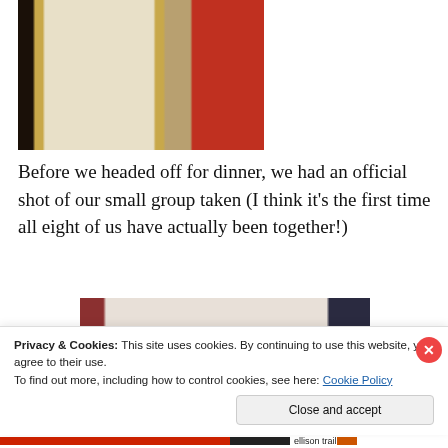[Figure (photo): Close-up photo of quilts with Japanese geisha doll appliqué patterns on cream/gold fabric, with striped and red paisley fabric sections visible]
Before we headed off for dinner, we had an official shot of our small group taken (I think it's the first time all eight of us have actually been together!)
[Figure (photo): Group photo of five women standing in front of quilts displayed on a wall, showing various quilt patterns in red, white, and blue]
Privacy & Cookies: This site uses cookies. By continuing to use this website, you agree to their use.
To find out more, including how to control cookies, see here: Cookie Policy
Close and accept